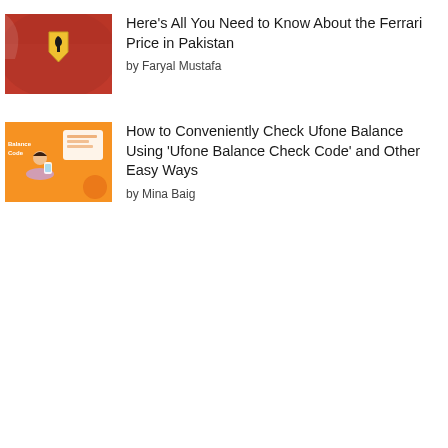[Figure (photo): Close-up of red Ferrari car body with yellow shield/horse logo badge]
Here's All You Need to Know About the Ferrari Price in Pakistan
by Faryal Mustafa
[Figure (photo): Orange background graphic showing a woman sitting cross-legged using a phone, with text 'Balance Code' and Ufone branding]
How to Conveniently Check Ufone Balance Using 'Ufone Balance Check Code' and Other Easy Ways
by Mina Baig